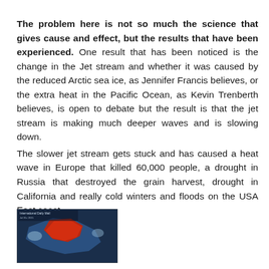The problem here is not so much the science that gives cause and effect, but the results that have been experienced. One result that has been noticed is the change in the Jet stream and whether it was caused by the reduced Arctic sea ice, as Jennifer Francis believes, or the extra heat in the Pacific Ocean, as Kevin Trenberth believes, is open to debate but the result is that the jet stream is making much deeper waves and is slowing down. The slower jet stream gets stuck and has caused a heat wave in Europe that killed 60,000 people, a drought in Russia that destroyed the grain harvest, drought in California and really cold winters and floods on the USA East coast.
[Figure (map): Small map image showing Arctic region with red highlighted area, appears to be from International Daily Mail]